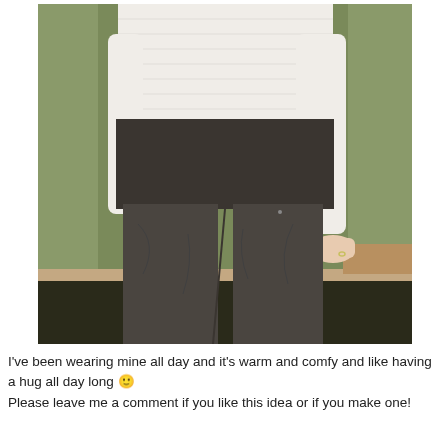[Figure (photo): Close-up photo of a person wearing a white long-sleeve ribbed top tucked into dark gray/charcoal high-waisted pants with a wide waistband. The person is standing in front of a green wall with dark carpet visible at the bottom.]
I've been wearing mine all day and it's warm and comfy and like having a hug all day long 🙂
Please leave me a comment if you like this idea or if you make one!